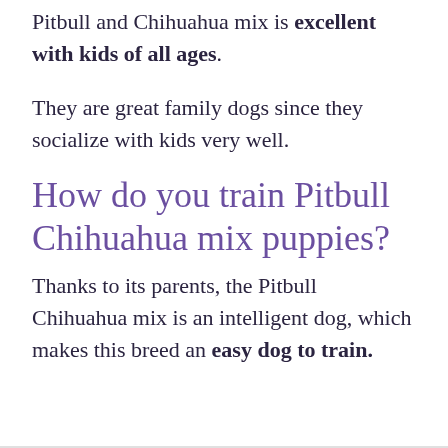Pitbull and Chihuahua mix is excellent with kids of all ages.
They are great family dogs since they socialize with kids very well.
How do you train Pitbull Chihuahua mix puppies?
Thanks to its parents, the Pitbull Chihuahua mix is an intelligent dog, which makes this breed an easy dog to train.